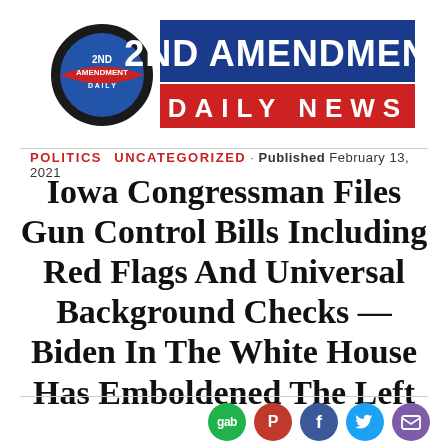[Figure (logo): 2nd Amendment Daily News logo banner — circular globe/ribbon emblem on left, bold blue block with '2ND AMENDMENT' text and red block with 'DAILY NEWS' text on right]
POLITICS  UNCATEGORIZED · Published February 13, 2021
Iowa Congressman Files Gun Control Bills Including Red Flags And Universal Background Checks — Biden In The White House Has Emboldened The Left
[Figure (infographic): Social sharing buttons row: gab (green), Parler (red), Facebook (blue), Twitter (light blue), Email (purple)]